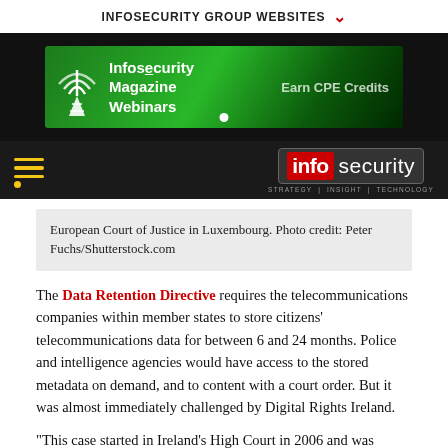INFOSECURITY GROUP WEBSITES ▾
[Figure (screenshot): Infosecurity Magazine Webinars banner ad with green circuit board background and 'Earn CPE Credits' text]
[Figure (logo): Infosecurity magazine logo with red 'info' block and white 'security' text, tagline: STRATEGY | INSIGHT | TECHNOLOGY]
European Court of Justice in Luxembourg. Photo credit: Peter Fuchs/Shutterstock.com
The Data Retention Directive requires the telecommunications companies within member states to store citizens' telecommunications data for between 6 and 24 months. Police and intelligence agencies would have access to the stored metadata on demand, and to content with a court order. But it was almost immediately challenged by Digital Rights Ireland.
"This case started in Ireland's High Court in 2006 and was